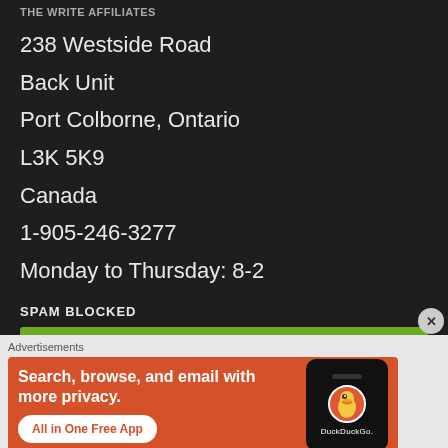THE WRITE AFFILIATES
238 Westside Road
Back Unit
Port Colborne, Ontario
L3K 5K9
Canada
1-905-246-3277
Monday to Thursday: 8-2
SPAM BLOCKED
Advertisements
[Figure (screenshot): DuckDuckGo advertisement banner on orange background with text 'Search, browse, and email with more privacy. All in One Free App' and phone mockup with DuckDuckGo logo]